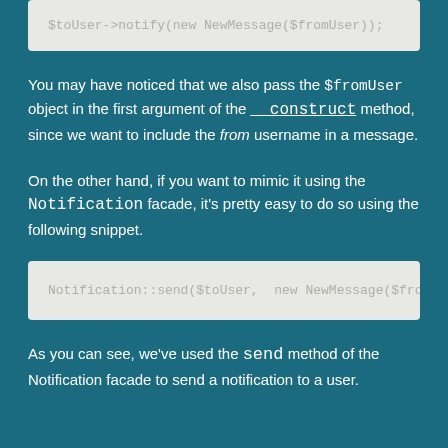$toUser->notify(new NewMessage($fromUser));
You may have noticed that we also pass the $fromUser object in the first argument of the __construct method, since we want to include the from username in a message.
On the other hand, if you want to mimic it using the Notification facade, it's pretty easy to do so using the following snippet.
Notification::send($toUser, new NewMessage($fro
As you can see, we've used the send method of the Notification facade to send a notification to a user.